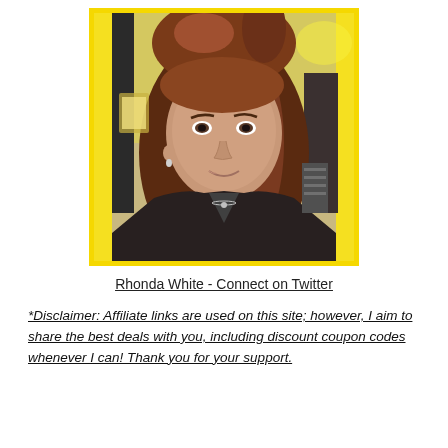[Figure (photo): Portrait photo of a woman with reddish-brown hair in a ponytail with bangs, wearing a dark jacket, smiling slightly, in a yellow-sided photo booth setting]
Rhonda White - Connect on Twitter
*Disclaimer: Affiliate links are used on this site; however, I aim to share the best deals with you, including discount coupon codes whenever I can! Thank you for your support.